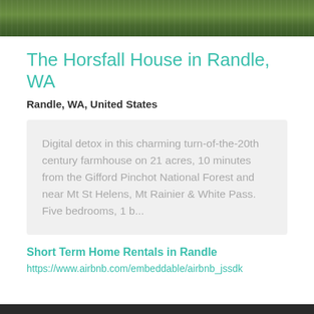[Figure (photo): Outdoor photo showing green lawn/grass area with trees in background, cropped at top of page]
The Horsfall House in Randle, WA
Randle, WA, United States
Digital detox in this charming turn-of-the-20th century farmhouse on 21 acres, 10 minutes from the Gifford Pinchot National Forest and near Mt St Helens, Mt Rainier & White Pass. Five bedrooms, 1 b...
Short Term Home Rentals in Randle
https://www.airbnb.com/embeddable/airbnb_jssdk